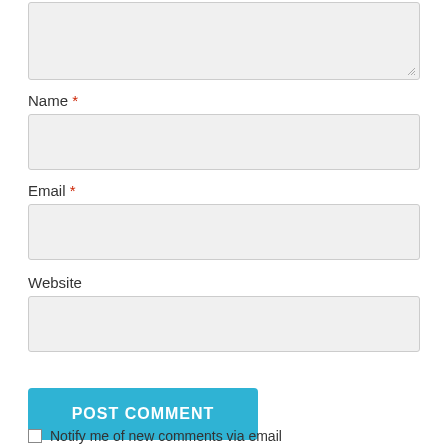[Figure (screenshot): Truncated textarea form field at top of page with resize handle in bottom-right corner]
Name *
[Figure (screenshot): Empty text input field for Name]
Email *
[Figure (screenshot): Empty text input field for Email]
Website
[Figure (screenshot): Empty text input field for Website]
POST COMMENT
Notify me of new comments via email